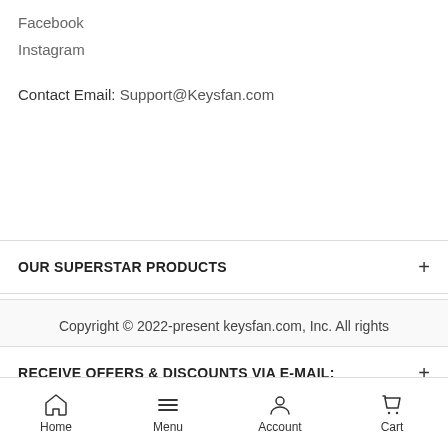Facebook
Instagram
Contact Email: Support@Keysfan.com
OUR SUPERSTAR PRODUCTS
SERVICE INFORMATION
RECEIVE OFFERS & DISCOUNTS VIA E-MAIL:
Copyright © 2022-present keysfan.com, Inc. All rights
Home  Menu  Account  Cart